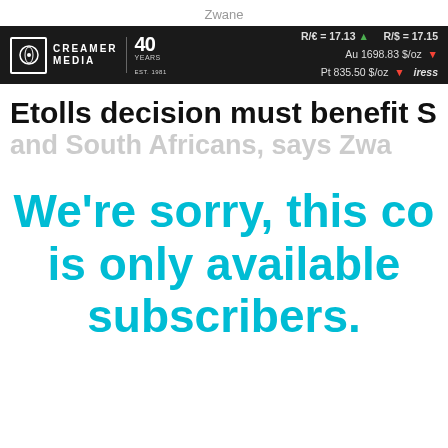Zwane
[Figure (logo): Creamer Media logo with 40 years branding and financial ticker showing R/€ = 17.13 up, R/$ = 17.15, Au 1698.83 $/oz down, Pt 835.50 $/oz down, iress]
Etolls decision must benefit S
and South Africans, says Zwa
We're sorry, this co is only available subscribers.